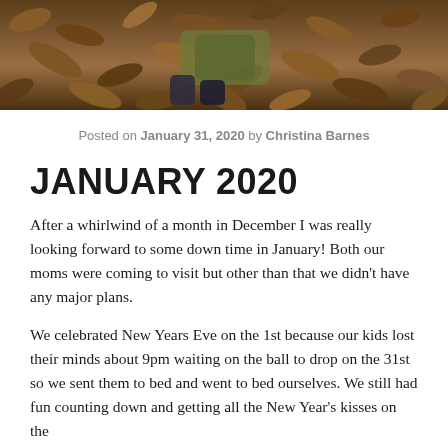[Figure (photo): A child lying in a pile of autumn leaves, seen from above. Brown and dried leaves cover most of the frame.]
Posted on January 31, 2020 by Christina Barnes
JANUARY 2020
After a whirlwind of a month in December I was really looking forward to some down time in January! Both our moms were coming to visit but other than that we didn't have any major plans.
We celebrated New Years Eve on the 1st because our kids lost their minds about 9pm waiting on the ball to drop on the 31st so we sent them to bed and went to bed ourselves. We still had fun counting down and getting all the New Year's kisses on the